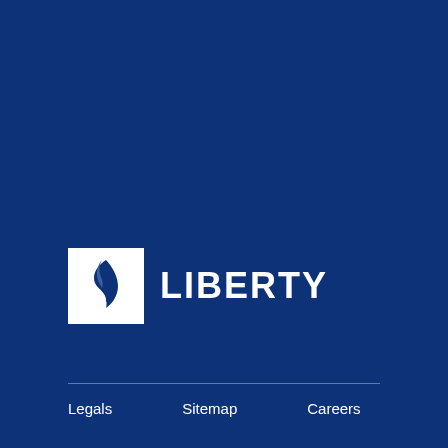[Figure (logo): Liberty logo: white square with dark blue flame icon on the left, followed by bold white text 'LIBERTY' on dark blue background]
Legals    Sitemap    Careers